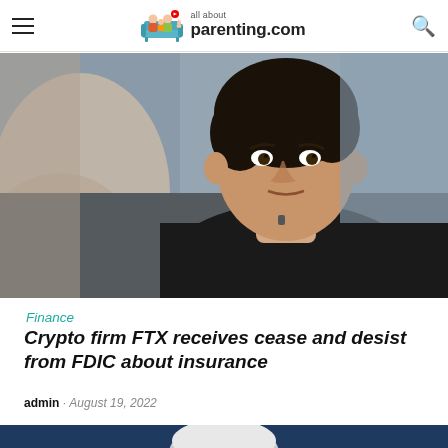all about parenting.com
[Figure (photo): Young curly-haired man in black shirt being interviewed, another person blurred in foreground]
Finance
Crypto firm FTX receives cease and desist from FDIC about insurance
admin · August 19, 2022
[Figure (photo): Elderly man with white hair against dark blue background, partially visible]